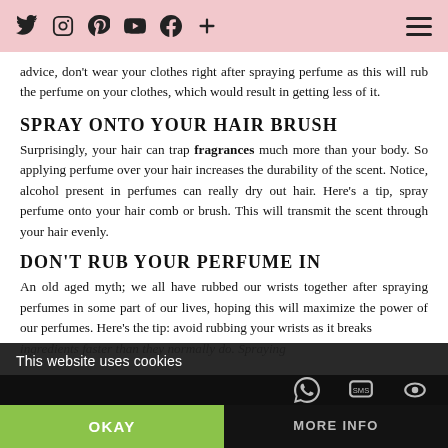Social media icons and hamburger menu on pink background
advice, don’t wear your clothes right after spraying perfume as this will rub the perfume on your clothes, which would result in getting less of it.
SPRAY ONTO YOUR HAIR BRUSH
Surprisingly, your hair can trap fragrances much more than your body. So applying perfume over your hair increases the durability of the scent. Notice, alcohol present in perfumes can really dry out hair. Here’s a tip, spray perfume onto your hair comb or brush. This will transmit the scent through your hair evenly.
DON’T RUB YOUR PERFUME IN
An old aged myth; we all have rubbed our wrists together after spraying perfumes in some part of our lives, hoping this will maximize the power of our perfumes. Here’s the tip: avoid rubbing your wrists as it breaks
ingredients faster than they normally do. Spraying
This website uses cookies | OKAY | MORE INFO